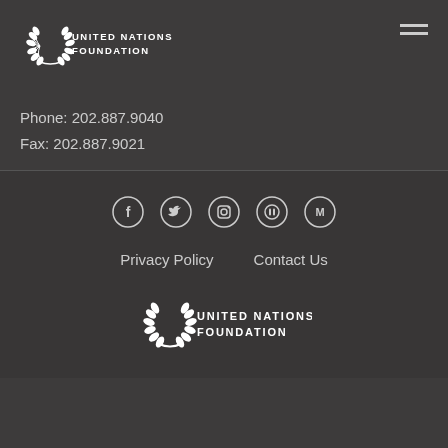[Figure (logo): United Nations Foundation logo with laurel wreath, white text on dark background, top left]
[Figure (other): Hamburger menu icon, three horizontal lines, top right]
Phone: 202.887.9040
Fax: 202.887.9021
[Figure (other): Social media icons row: Facebook, Twitter, Instagram, YouTube, Medium - white circle outlines on dark background]
Privacy Policy   Contact Us
[Figure (logo): United Nations Foundation logo with laurel wreath, white text on dark background, bottom center]